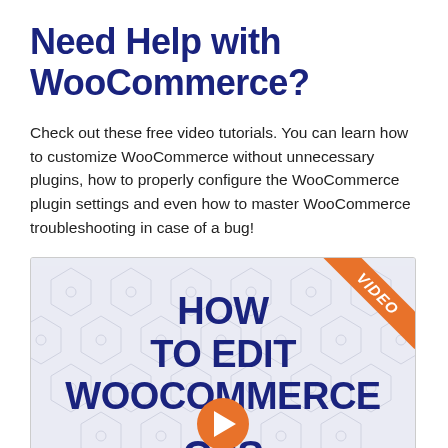Need Help with WooCommerce?
Check out these free video tutorials. You can learn how to customize WooCommerce without unnecessary plugins, how to properly configure the WooCommerce plugin settings and even how to master WooCommerce troubleshooting in case of a bug!
[Figure (screenshot): Video thumbnail for 'How To Edit WooCommerce CSS' with an orange VIDEO ribbon in the top-right corner, hexagonal background pattern, large dark blue bold text reading HOW TO EDIT WOOCOMMERCE, an orange play button circle, and partial text CSS at the bottom.]